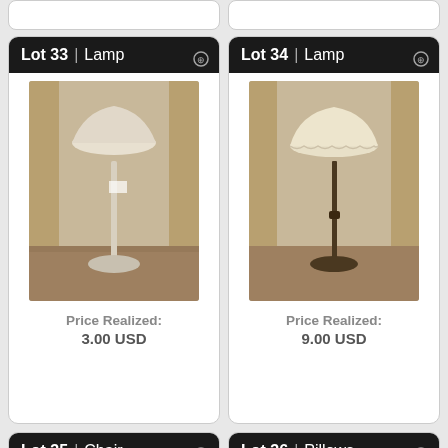[Figure (photo): Partial top stub of a previous auction lot card (top of page, left)]
[Figure (photo): Partial top stub of a previous auction lot card (top of page, right)]
Lot 33 | Lamp
[Figure (photo): Floor lamp with pale patterned shade, white/chrome pole, round base, against beige wall]
Price Realized: 3.00 USD
Lot 34 | Lamp
[Figure (photo): Floor lamp with cream scalloped shade, dark bronze pole, against beige wall]
Price Realized: 9.00 USD
Lot 35 | Chair
[Figure (photo): Ornate chair with carved wooden frame, partially visible at bottom of page]
Lot 36 | Pillows
[Figure (photo): Decorative pillows, partially visible at bottom of page]